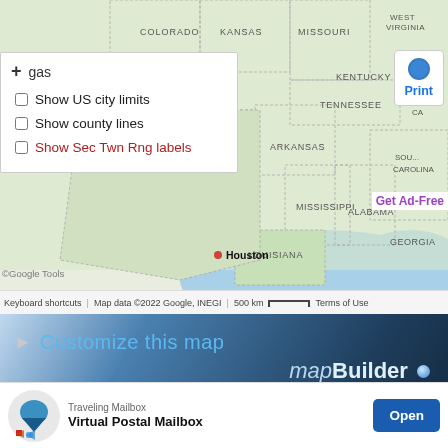[Figure (map): Google Map screenshot showing the south-central United States including states: Colorado, Kansas, Missouri, West Virginia, Kentucky, Oklahoma, Tennessee, Arkansas, Mississippi, Alabama, Georgia, Louisiana, Texas (Houston labeled). Map panel shows overlay options: Show US city limits, Show county lines, Show Sec Twn Rng labels. Print button visible top right. Get Ad-Free link visible. Google Tools and map attribution bar at bottom: Keyboard shortcuts, Map data ©2022 Google INEGI, 500 km scale bar, Terms of Use.]
[Figure (screenshot): mapBuilder banner with 'Customize this map' text in blue on dark gradient background, with mapBuilder logo (italic map bold Builder with blue dot)]
randymajors.org Map Tools ©2022 randymajors.org
Township 49 North, Range 26 West, Extended Fourth Pri...
[Figure (other): Advertisement banner: Traveling Mailbox - Virtual Postal Mailbox, Open button]